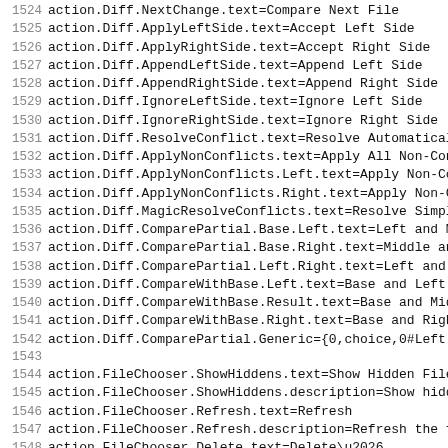1524 action.Diff.NextChange.text=Compare Next File
1525 action.Diff.ApplyLeftSide.text=Accept Left Side
1526 action.Diff.ApplyRightSide.text=Accept Right Side
1527 action.Diff.AppendLeftSide.text=Append Left Side
1528 action.Diff.AppendRightSide.text=Append Right Side
1529 action.Diff.IgnoreLeftSide.text=Ignore Left Side
1530 action.Diff.IgnoreRightSide.text=Ignore Right Side
1531 action.Diff.ResolveConflict.text=Resolve Automatically
1532 action.Diff.ApplyNonConflicts.text=Apply All Non-Confli
1533 action.Diff.ApplyNonConflicts.Left.text=Apply Non-Confl
1534 action.Diff.ApplyNonConflicts.Right.text=Apply Non-Conf
1535 action.Diff.MagicResolveConflicts.text=Resolve Simple C
1536 action.Diff.ComparePartial.Base.Left.text=Left and Midd
1537 action.Diff.ComparePartial.Base.Right.text=Middle and R
1538 action.Diff.ComparePartial.Left.Right.text=Left and Rig
1539 action.Diff.CompareWithBase.Left.text=Base and Left
1540 action.Diff.CompareWithBase.Result.text=Base and Middle
1541 action.Diff.CompareWithBase.Right.text=Base and Right
1542 action.Diff.ComparePartial.Generic={0,choice,0#Left|1#M
1543 
1544 action.FileChooser.ShowHiddens.text=Show Hidden Files a
1545 action.FileChooser.ShowHiddens.description=Show hidden
1546 action.FileChooser.Refresh.text=Refresh
1547 action.FileChooser.Refresh.description=Refresh the file
1548 action.FileChooser.Delete.text=Delete\u2026
1549 action.FileChooser.Delete.description=Delete
1550 action.FileChooser.NewFolder.text=New Folder\u2026
1551 action.FileChooser.NewFolder.description=Create new fol
1552 action.FileChooser.NewFile.text=New File\u2026
1553 action.FileChooser.NewFile.description=Create new file
1554 action.FileChooser.GotoHome.text=Home Directory
1555 action.FileChooser.GotoHome.description=Go to home dire